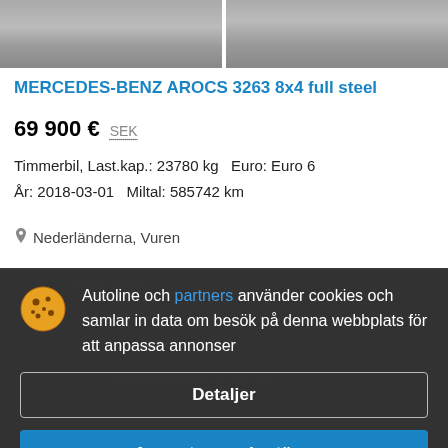[Figure (photo): Two truck photos side by side at the top of the listing page, partially cropped]
MERCEDES-BENZ AROCS 3263 8x4 full steel
69 900 €   SEK
Timmerbil, Last.kap.: 23780 kg   Euro: Euro 6
År: 2018-03-01   Miltal: 585742 km
Nederländerna, Vuren
Autoline och partners använder cookies och samlar in data om besök på denna webbplats för att anpassa annonser
Detaljer
Acceptera och stäng